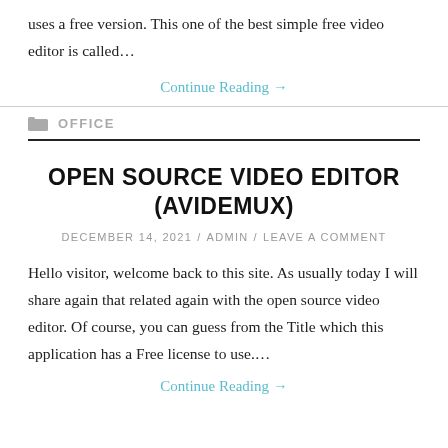uses a free version. This one of the best simple free video editor is called…
Continue Reading →
OFFICE
OPEN SOURCE VIDEO EDITOR (AVIDEMUX)
DECEMBER 14, 2021 / ADMIN / LEAVE A COMMENT
Hello visitor, welcome back to this site. As usually today I will share again that related again with the open source video editor. Of course, you can guess from the Title which this application has a Free license to use.…
Continue Reading →